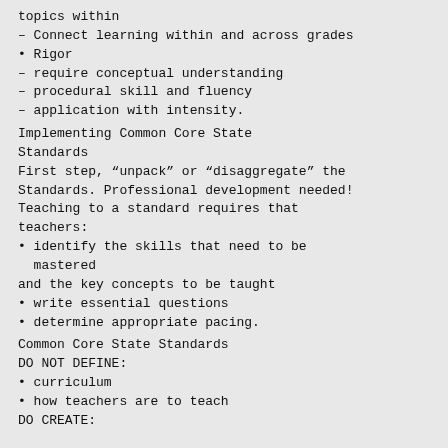topics within
– Connect learning within and across grades
• Rigor
– require conceptual understanding
– procedural skill and fluency
– application with intensity.
Implementing Common Core State Standards
First step, “unpack” or “disaggregate” the Standards. Professional development needed! Teaching to a standard requires that teachers:
• identify the skills that need to be mastered
and the key concepts to be taught
• write essential questions
• determine appropriate pacing.
Common Core State Standards DO NOT DEFINE:
• curriculum
• how teachers are to teach
DO CREATE: